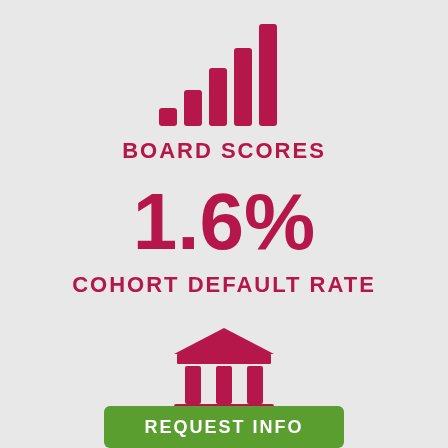[Figure (infographic): Signal/bar chart icon with 5 bars of increasing height in crimson/dark pink color, representing board scores]
BOARD SCORES
1.6%
COHORT DEFAULT RATE
[Figure (infographic): Bank/institution building icon in crimson/dark pink color]
REQUEST INFO